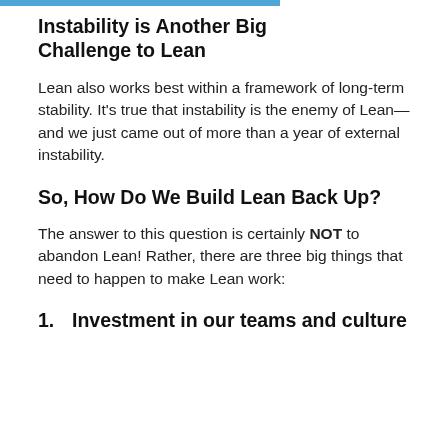Instability is Another Big Challenge to Lean
Lean also works best within a framework of long-term stability. It's true that instability is the enemy of Lean—and we just came out of more than a year of external instability.
So, How Do We Build Lean Back Up?
The answer to this question is certainly NOT to abandon Lean! Rather, there are three big things that need to happen to make Lean work:
1.    Investment in our teams and culture